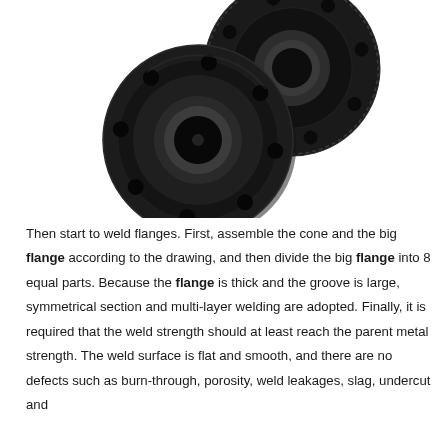[Figure (photo): Black and white photograph of two dark steel pipe flanges with bolt holes arranged around the perimeter and a central bore, shown from a slightly angled overhead perspective.]
Then start to weld flanges. First, assemble the cone and the big flange according to the drawing, and then divide the big flange into 8 equal parts. Because the flange is thick and the groove is large, symmetrical section and multi-layer welding are adopted. Finally, it is required that the weld strength should at least reach the parent metal strength. The weld surface is flat and smooth, and there are no defects such as burn-through, porosity, weld leakages, slag, undercut and